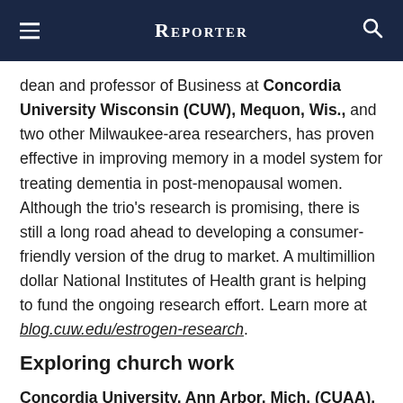Reporter
dean and professor of Business at Concordia University Wisconsin (CUW), Mequon, Wis., and two other Milwaukee-area researchers, has proven effective in improving memory in a model system for treating dementia in post-menopausal women. Although the trio's research is promising, there is still a long road ahead to developing a consumer-friendly version of the drug to market. A multimillion dollar National Institutes of Health grant is helping to fund the ongoing research effort. Learn more at blog.cuw.edu/estrogen-research.
Exploring church work
Concordia University, Ann Arbor, Mich. (CUAA), will host its annual Trinity Time event July 7–8. This overnight retreat on the CUAA campus invites high school students